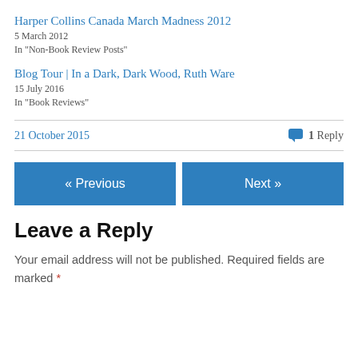Harper Collins Canada March Madness 2012
5 March 2012
In "Non-Book Review Posts"
Blog Tour | In a Dark, Dark Wood, Ruth Ware
15 July 2016
In "Book Reviews"
21 October 2015 — 1 Reply
« Previous    Next »
Leave a Reply
Your email address will not be published. Required fields are marked *